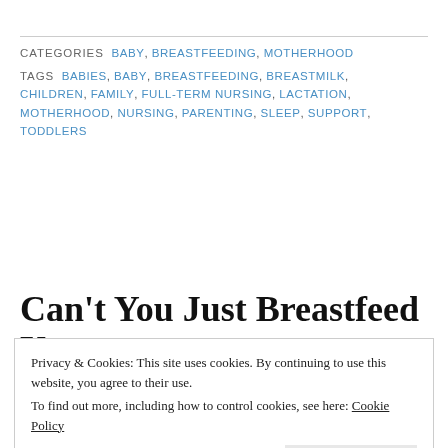CATEGORIES  BABY, BREASTFEEDING, MOTHERHOOD
TAGS  BABIES, BABY, BREASTFEEDING, BREASTMILK, CHILDREN, FAMILY, FULL-TERM NURSING, LACTATION, MOTHERHOOD, NURSING, PARENTING, SLEEP, SUPPORT, TODDLERS
Can't You Just Breastfeed Your
Privacy & Cookies: This site uses cookies. By continuing to use this website, you agree to their use. To find out more, including how to control cookies, see here: Cookie Policy
Close and accept